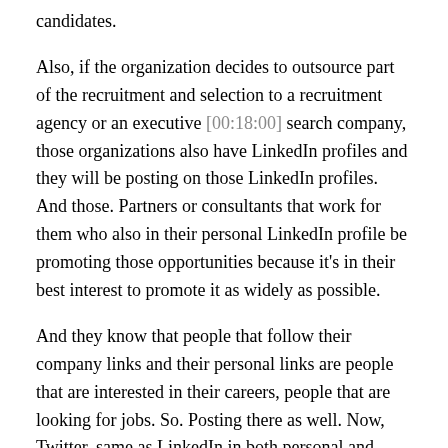candidates.
Also, if the organization decides to outsource part of the recruitment and selection to a recruitment agency or an executive [00:18:00] search company, those organizations also have LinkedIn profiles and they will be posting on those LinkedIn profiles. And those. Partners or consultants that work for them who also in their personal LinkedIn profile be promoting those opportunities because it's in their best interest to promote it as widely as possible.
And they know that people that follow their company links and their personal links are people that are interested in their careers, people that are looking for jobs. So. Posting there as well. Now, Twitter, same as LinkedIn in both personal and company accounts